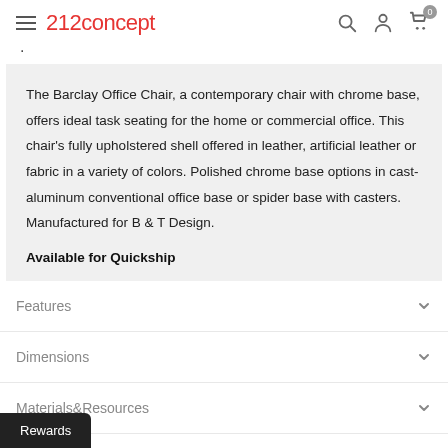212concept
The Barclay Office Chair, a contemporary chair with chrome base, offers ideal task seating for the home or commercial office. This chair's fully upholstered shell offered in leather, artificial leather or fabric in a variety of colors. Polished chrome base options in cast-aluminum conventional office base or spider base with casters. Manufactured for B & T Design.
Available for Quickship
Features
Dimensions
Materials&Resources